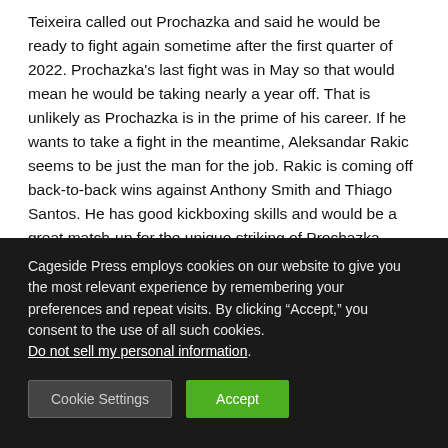Teixeira called out Prochazka and said he would be ready to fight again sometime after the first quarter of 2022. Prochazka's last fight was in May so that would mean he would be taking nearly a year off. That is unlikely as Prochazka is in the prime of his career. If he wants to take a fight in the meantime, Aleksandar Rakic seems to be just the man for the job. Rakic is coming off back-to-back wins against Anthony Smith and Thiago Santos. He has good kickboxing skills and would be a great match-up for the unique striking of Prochazka.
Cageside Press employs cookies on our website to give you the most relevant experience by remembering your preferences and repeat visits. By clicking “Accept,” you consent to the use of all such cookies. Do not sell my personal information.